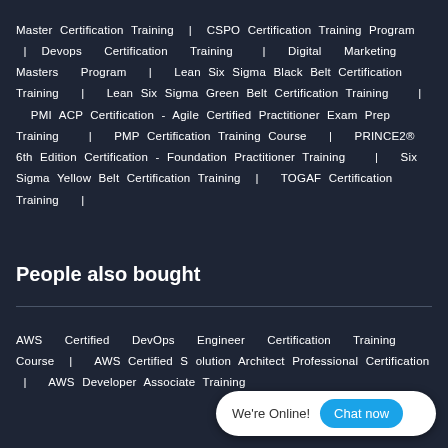Master Certification Training | CSPO Certification Training Program | Devops Certification Training | Digital Marketing Masters Program | Lean Six Sigma Black Belt Certification Training | Lean Six Sigma Green Belt Certification Training | PMI ACP Certification - Agile Certified Practitioner Exam Prep Training | PMP Certification Training Course | PRINCE2® 6th Edition Certification - Foundation Practitioner Training | Six Sigma Yellow Belt Certification Training | TOGAF Certification Training |
People also bought
AWS Certified DevOps Engineer Certification Training Course | AWS Certified Solution Architect Professional Certification | AWS Developer Associate Training